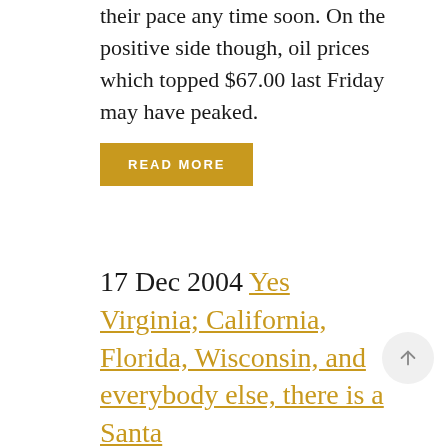their pace any time soon. On the positive side though, oil prices which topped $67.00 last Friday may have peaked.
READ MORE
17 Dec 2004 Yes Virginia; California, Florida, Wisconsin, and everybody else, there is a Santa